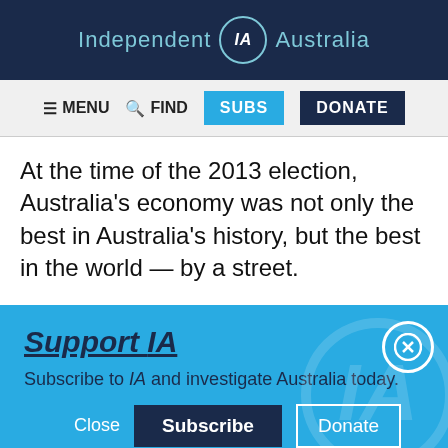Independent IA Australia
≡ MENU  🔍 FIND  SUBS  DONATE
At the time of the 2013 election, Australia's economy was not only the best in Australia's history, but the best in the world — by a street.
Support IA
Subscribe to IA and investigate Australia today.
Close  Subscribe  Donate
Social media icons: Twitter, Facebook, LinkedIn, Flipboard, Link, Plus